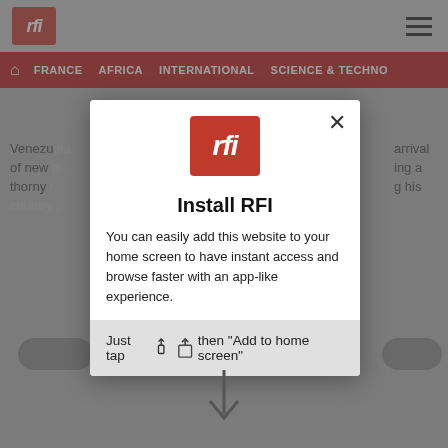[Figure (screenshot): RFI website screenshot showing navigation bar with FRANCE, AFRICA, INTERNATIONAL, SCIENCE & TECHNO tabs on red background, with hamburger menu and RFI logo in top grey bar]
[Figure (screenshot): Modal dialog showing Install RFI prompt with RFI logo, title 'Install RFI', description text about adding to home screen, and instruction to tap share icon then Add to home screen. A down arrow points below the modal.]